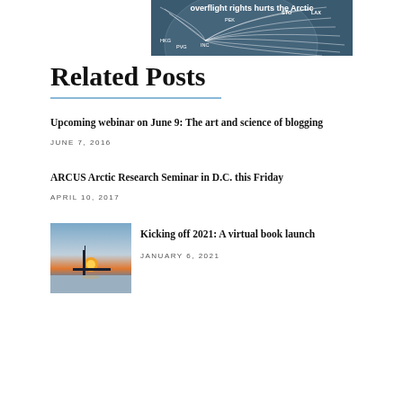[Figure (photo): A map/flight-path visualization showing airline routes over the Arctic, with white lines radiating from a central globe shape on a dark blue background. White text overlay reads 'overflight rights hurts the Arctic'. Airport codes visible: PEK, STO, LAX, HKG, PVG, INC.]
Related Posts
Upcoming webinar on June 9: The art and science of blogging
JUNE 7, 2016
ARCUS Arctic Research Seminar in D.C. this Friday
APRIL 10, 2017
[Figure (photo): A photograph showing a winter Arctic/subarctic scene at dusk or dawn with a bright orange sun on the horizon, a structure or tower silhouetted in the foreground, and a snowy blue landscape.]
Kicking off 2021: A virtual book launch
JANUARY 6, 2021